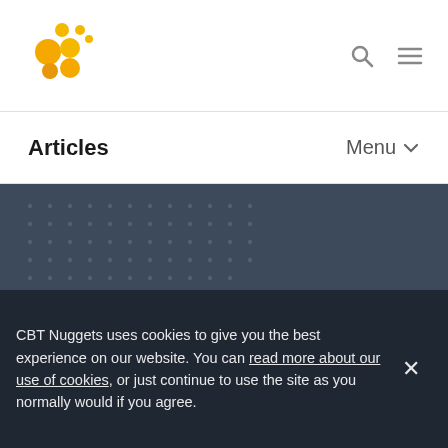[Figure (logo): CBT Nuggets logo with yellow/orange circles]
[Figure (other): Search icon and hamburger menu icon]
Articles
Menu
[Figure (illustration): Dark blue-grey hero banner with dot pattern on left and line-art shipping box icon on right]
CBT Nuggets uses cookies to give you the best experience on our website. You can read more about our use of cookies, or just continue to use the site as you normally would if you agree.